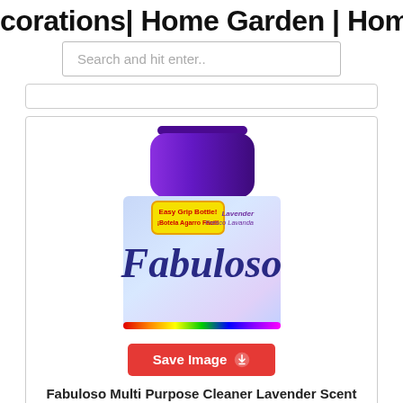corations| Home Garden | Home Fa…
[Figure (screenshot): Search bar with placeholder text 'Search and hit enter..']
[Figure (photo): Fabuloso Multi Purpose Cleaner Lavender Scent bottle with purple cap and colorful label showing 'Easy Grip Bottle / Botella Agarro Facil' badge and rainbow design]
Save Image ⬆
Fabuloso Multi Purpose Cleaner Lavender Scent Makes Your House Smell Clean Pour A Cup Full Of This Or The Best Floor Cleaner Cleaning Multipurpose Cleaner